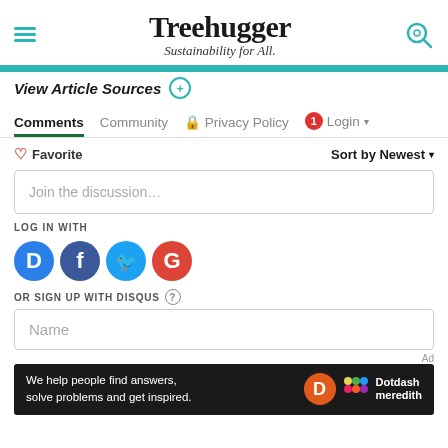Treehugger — Sustainability for All.
View Article Sources
Comments   Community   🔒 Privacy Policy   1   Login ▾
♡ Favorite   Sort by Newest ▾
Join the discussion…
LOG IN WITH
[Figure (illustration): Social login icons: Disqus (blue), Facebook (dark blue), Twitter (light blue), Google (red)]
OR SIGN UP WITH DISQUS ?
Name
Ad
We help people find answers, solve problems and get inspired. Dotdash meredith